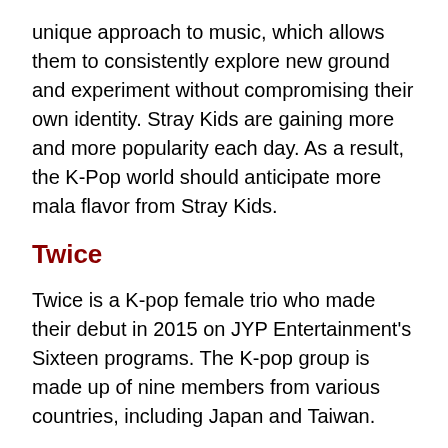unique approach to music, which allows them to consistently explore new ground and experiment without compromising their own identity. Stray Kids are gaining more and more popularity each day. As a result, the K-Pop world should anticipate more mala flavor from Stray Kids.
Twice
Twice is a K-pop female trio who made their debut in 2015 on JYP Entertainment's Sixteen programs. The K-pop group is made up of nine members from various countries, including Japan and Taiwan.
Twice distinguishes itself from other K-pop groups with upbeat music and a vibrant style—in the members' clothing, hair, and makeup, as well as a group concept where each member is designated a different color. The title tracks on Twice's albums are known for their bold